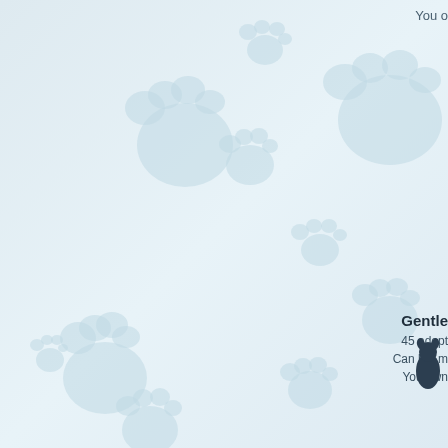You o
[Figure (illustration): Decorative paw print pattern background in light blue on a pale blue-grey background, with multiple paw prints of varying sizes scattered across the page]
Gentle
45 adopt
Can be: m
You own
[Figure (illustration): Small animal silhouette (cat or dog) in dark color at bottom right]